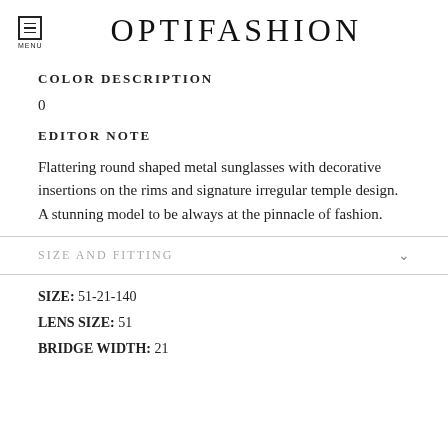OPTIFASHION
COLOR DESCRIPTION
0
EDITOR NOTE
Flattering round shaped metal sunglasses with decorative insertions on the rims and signature irregular temple design. A stunning model to be always at the pinnacle of fashion.
SIZE AND FITTING
SIZE:  51-21-140
LENS SIZE:  51
BRIDGE WIDTH:  21